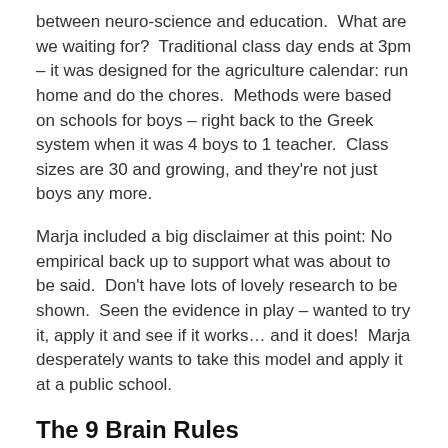between neuro-science and education.  What are we waiting for?  Traditional class day ends at 3pm – it was designed for the agriculture calendar: run home and do the chores.  Methods were based on schools for boys – right back to the Greek system when it was 4 boys to 1 teacher.  Class sizes are 30 and growing, and they're not just boys any more.
Marja included a big disclaimer at this point: No empirical back up to support what was about to be said.  Don't have lots of lovely research to be shown.  Seen the evidence in play – wanted to try it, apply it and see if it works… and it does!  Marja desperately wants to take this model and apply it at a public school.
The 9 Brain Rules
Marja took 9 brain rules from what we've learnt in neuro-science, and built the curriculum using them.  These rules are based on studies from evolutionary biology – if you don't believe in evolution (from school intelligently designed) –